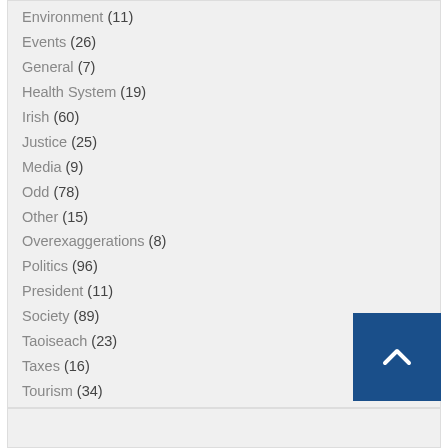Environment (11)
Events (26)
General (7)
Health System (19)
Irish (60)
Justice (25)
Media (9)
Odd (78)
Other (15)
Overexaggerations (8)
Politics (96)
President (11)
Society (89)
Taoiseach (23)
Taxes (16)
Tourism (34)
Traffic (25)
Uncategorized (9)
Unions (1)